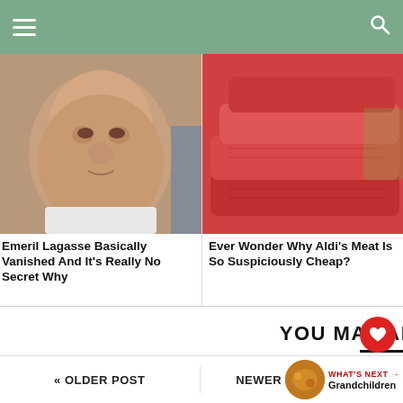Navigation header with hamburger menu and search icon
[Figure (photo): Close-up photo of Emeril Lagasse's face]
[Figure (photo): Photo of stacked raw red meat cuts from Aldi]
Emeril Lagasse Basically Vanished And It's Really No Secret Why
Ever Wonder Why Aldi's Meat Is So Suspiciously Cheap?
YOU MAY ALSO LIKE
OLDER POST
NEWER
WHAT'S NEXT → Grandchildren